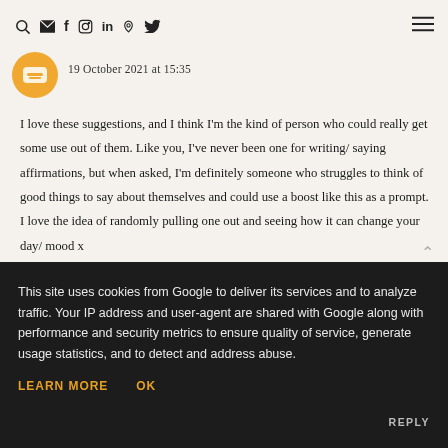🔍 ✉ f IG in P 🐦 ☰
19 October 2021 at 15:35
I love these suggestions, and I think I'm the kind of person who could really get some use out of them. Like you, I've never been one for writing/ saying affirmations, but when asked, I'm definitely someone who struggles to think of good things to say about themselves and could use a boost like this as a prompt. I love the idea of randomly pulling one out and seeing how it can change your day/ mood x
This site uses cookies from Google to deliver its services and to analyze traffic. Your IP address and user-agent are shared with Google along with performance and security metrics to ensure quality of service, generate usage statistics, and to detect and address abuse.
LEARN MORE
OK
REPLY